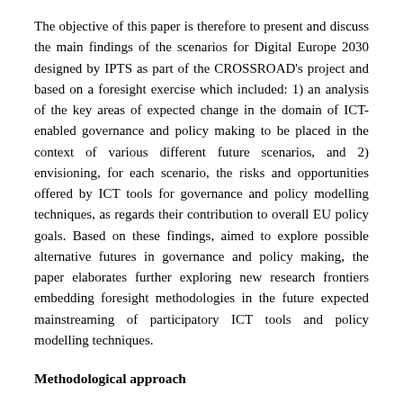The objective of this paper is therefore to present and discuss the main findings of the scenarios for Digital Europe 2030 designed by IPTS as part of the CROSSROAD's project and based on a foresight exercise which included: 1) an analysis of the key areas of expected change in the domain of ICT-enabled governance and policy making to be placed in the context of various different future scenarios, and 2) envisioning, for each scenario, the risks and opportunities offered by ICT tools for governance and policy modelling techniques, as regards their contribution to overall EU policy goals. Based on these findings, aimed to explore possible alternative futures in governance and policy making, the paper elaborates further exploring new research frontiers embedding foresight methodologies in the future expected mainstreaming of participatory ICT tools and policy modelling techniques.
Methodological approach